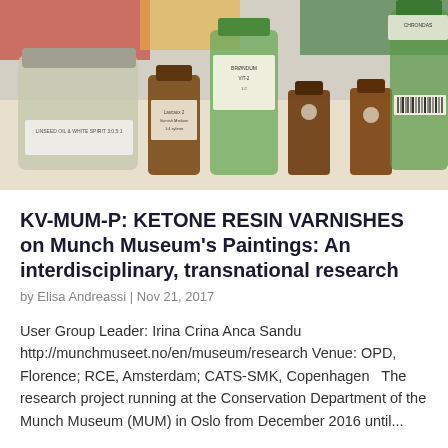[Figure (photo): Photograph of various glass bottles and jars containing liquids and varnishes on a table. Includes a large wide-mouth jar with a metal lid labeled with handwriting, several amber-colored small bottles, and large green-tinted glass bottles with handwritten labels, set on a light wooden surface.]
KV-MUM-P: KETONE RESIN VARNISHES on Munch Museum's Paintings: An interdisciplinary, transnational research
by Elisa Andreassi | Nov 21, 2017
User Group Leader: Irina Crina Anca Sandu http://munchmuseet.no/en/museum/research Venue: OPD, Florence; RCE, Amsterdam; CATS-SMK, Copenhagen   The research project running at the Conservation Department of the Munch Museum (MUM) in Oslo from December 2016 until...